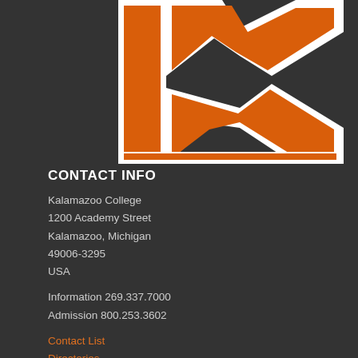[Figure (logo): Large orange letter K with white outline on dark gray background, Kalamazoo College logo]
CONTACT INFO
Kalamazoo College
1200 Academy Street
Kalamazoo, Michigan
49006-3295
USA
Information 269.337.7000
Admission 800.253.3602
Contact List
Directories
Search this site
Sitemap
Map and Directions